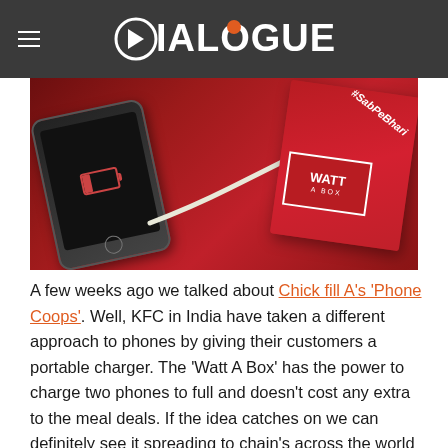Dialogue
[Figure (photo): KFC Watt A Box portable charger plugged into a smartphone, both placed on a red KFC box branded with #SabPeBhari]
A few weeks ago we talked about Chick fill A's 'Phone Coops'. Well, KFC in India have taken a different approach to phones by giving their customers a portable charger. The 'Watt A Box' has the power to charge two phones to full and doesn't cost any extra to the meal deals. If the idea catches on we can definitely see it spreading to chain's across the world just like it did with the phone coops.